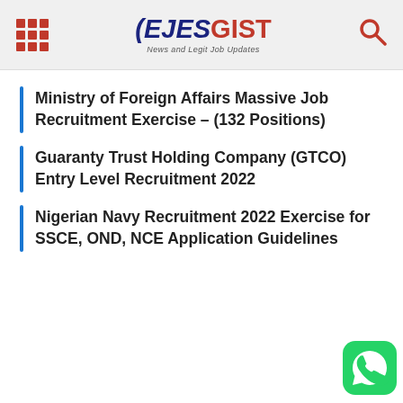EJESGIST News and Legit Job Updates
Ministry of Foreign Affairs Massive Job Recruitment Exercise – (132 Positions)
Guaranty Trust Holding Company (GTCO) Entry Level Recruitment 2022
Nigerian Navy Recruitment 2022 Exercise for SSCE, OND, NCE Application Guidelines
[Figure (logo): WhatsApp contact button in green rounded square at bottom right]